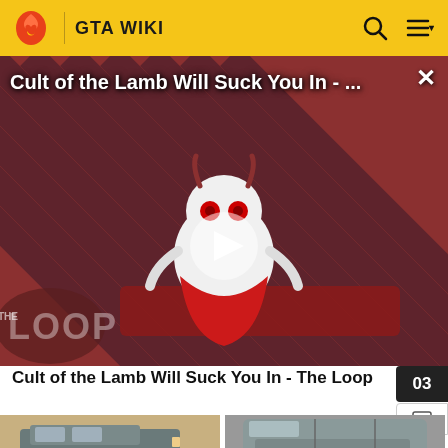GTA WIKI
[Figure (screenshot): Video player showing 'Cult of the Lamb Will Suck You In - ...' ad with The Loop branding, striped red/dark background with cartoon lamb character and play button overlay]
Cult of the Lamb Will Suck You In - The Loop
[Figure (photo): Front Quarter View of a vehicle (van/minivan), gray/dark color on sandy ground]
[Figure (photo): Top View of a vehicle, gray color]
Front Quarter View
Top View